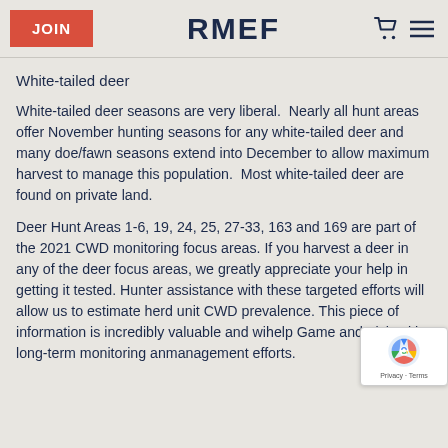JOIN   RMEF
White-tailed deer
White-tailed deer seasons are very liberal.  Nearly all hunt areas offer November hunting seasons for any white-tailed deer and many doe/fawn seasons extend into December to allow maximum harvest to manage this population.  Most white-tailed deer are found on private land.
Deer Hunt Areas 1-6, 19, 24, 25, 27-33, 163 and 169 are part of the 2021 CWD monitoring focus areas. If you harvest a deer in any of the deer focus areas, we greatly appreciate your help in getting it tested. Hunter assistance with these targeted efforts will allow us to estimate herd unit CWD prevalence. This piece of information is incredibly valuable and will help Game and Fish with long-term monitoring and management efforts.